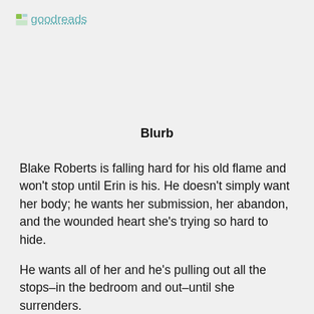goodreads
Blurb
Blake Roberts is falling hard for his old flame and won't stop until Erin is his. He doesn't simply want her body; he wants her submission, her abandon, and the wounded heart she's trying so hard to hide.
He wants all of her and he's pulling out all the stops–in the bedroom and out–until she surrenders.
For Erin, what started as a charade has become all too real. She's never experienced anything like the savage